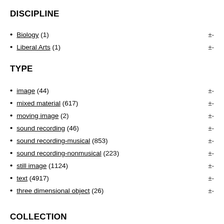DISCIPLINE
Biology (1)
Liberal Arts (1)
TYPE
image (44)
mixed material (617)
moving image (2)
sound recording (46)
sound recording-musical (853)
sound recording-nonmusical (223)
still image (1124)
text (4917)
three dimensional object (26)
COLLECTION